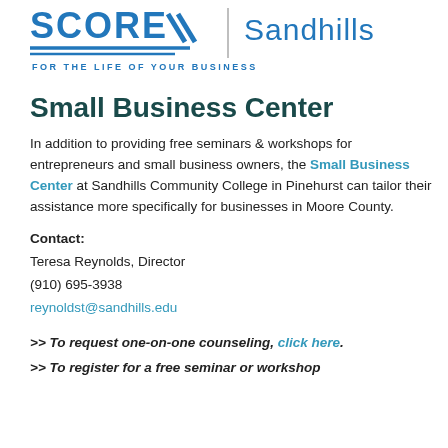[Figure (logo): SCORE Sandhills logo with tagline FOR THE LIFE OF YOUR BUSINESS]
Small Business Center
In addition to providing free seminars & workshops for entrepreneurs and small business owners, the Small Business Center at Sandhills Community College in Pinehurst can tailor their assistance more specifically for businesses in Moore County.
Contact:
Teresa Reynolds, Director
(910) 695-3938
reynoldst@sandhills.edu
>> To request one-on-one counseling, click here.
>> To register for a free seminar or workshop